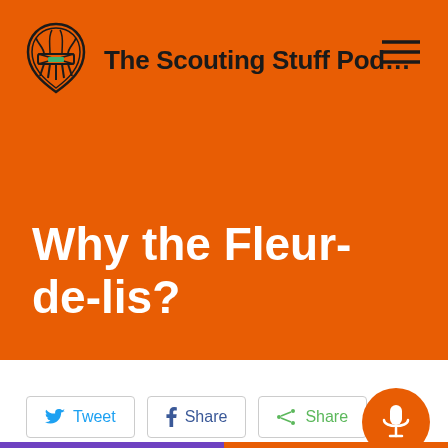The Scouting Stuff Pod…
Why the Fleur-de-lis?
Tweet | Share | Share